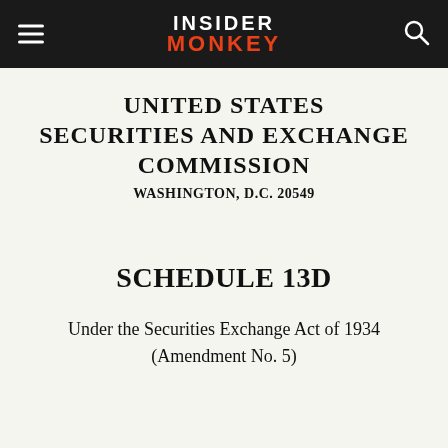INSIDER MONKEY
UNITED STATES SECURITIES AND EXCHANGE COMMISSION
WASHINGTON, D.C. 20549
SCHEDULE 13D
Under the Securities Exchange Act of 1934
(Amendment No. 5)